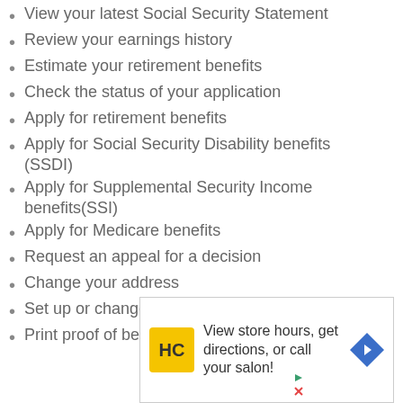View your latest Social Security Statement
Review your earnings history
Estimate your retirement benefits
Check the status of your application
Apply for retirement benefits
Apply for Social Security Disability benefits (SSDI)
Apply for Supplemental Security Income benefits(SSI)
Apply for Medicare benefits
Request an appeal for a decision
Change your address
Set up or change your direct deposit account
Print proof of benefits
[Figure (other): Advertisement box: HC logo (yellow square), text 'View store hours, get directions, or call your salon!', blue diamond arrow icon, play and close controls]